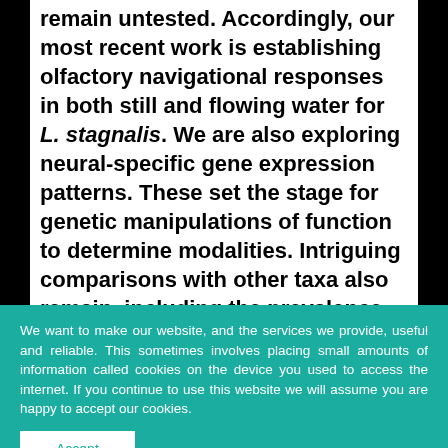remain untested. Accordingly, our most recent work is establishing olfactory navigational responses in both still and flowing water for L. stagnalis. We are also exploring neural-specific gene expression patterns. These set the stage for genetic manipulations of function to determine modalities. Intriguing comparisons with other taxa also remain, including the prevalence of straight-line navigation in gastropods rather than counter-turns or casting, the time scales of sensory adaptation f...
We want to make our website, and the services we provide, useful and reliable. This sometimes involves placing small amounts of information called cookies on the device you used to access the internet. If you continue to use this website we will assume you are happy to accept our cookies.
Accept